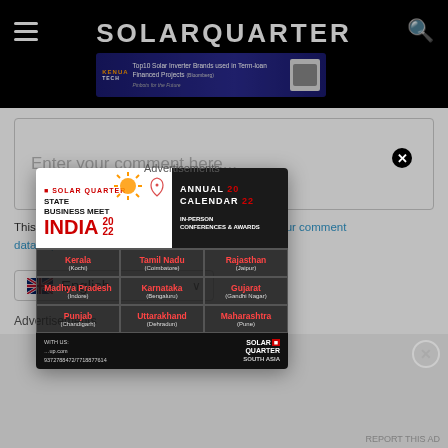SOLARQUARTER
[Figure (screenshot): Advertisement banner for KENUA TECH - Top10 Solar Inverter Brands used in Term-loan Financed Projects]
Enter your comment here...
Advertisements
[Figure (infographic): Solar Quarter State Business Meet India 2022 Annual Calendar - In-Person Conferences & Awards popup modal showing states: Kerala (Kochi), Tamil Nadu (Coimbatore), Rajasthan (Jaipur), Madhya Pradesh (Indore), Karnataka (Bengaluru), Gujarat (Gandhi Nagar), Punjab (Chandigarh), Uttarakhand (Dehradun), Maharashtra (Pune)]
This site uses A... how your comment data is process...
English
Advertisements
REPORT THIS AD